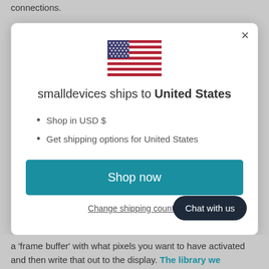connections.
[Figure (screenshot): A modal dialog showing a US flag and text 'smalldevices ships to United States' with bullet points 'Shop in USD $' and 'Get shipping options for United States', a teal 'Shop now' button, and a 'Change shipping country' link. A 'Chat with us' dark pill badge appears in the bottom right corner of the modal.]
a 'frame buffer' with what pixels you want to have activated and then write that out to the display. The library we